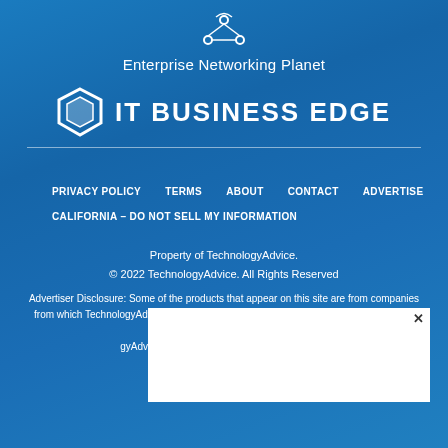Enterprise Networking Planet
[Figure (logo): IT Business Edge logo with hexagon icon]
PRIVACY POLICY
TERMS
ABOUT
CONTACT
ADVERTISE
CALIFORNIA – DO NOT SELL MY INFORMATION
Property of TechnologyAdvice.
© 2022 TechnologyAdvice. All Rights Reserved
Advertiser Disclosure: Some of the products that appear on this site are from companies from which TechnologyAdvice receives compensation. This compensation may impact how and where products appear on this site including, for example, the order in which they appear. TechnologyAdvice does not include all companies or all types of products available in the